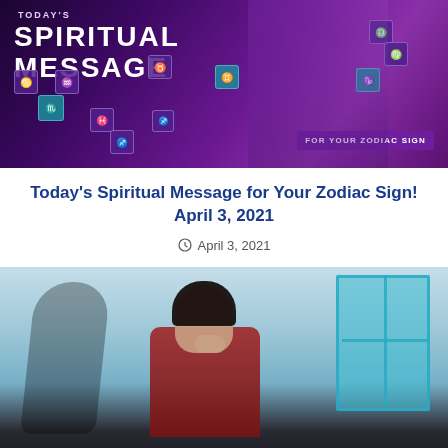[Figure (illustration): Mystical purple-themed banner image with text 'SPIRITUAL MESSAGE' in large white letters, zodiac sign icons scattered around, and a woman figure in the background. Text 'FOR YOUR ZODIAC SIGN' visible in lower right area.]
Today's Spiritual Message for Your Zodiac Sign! April 3, 2021
April 3, 2021
[Figure (photo): Photo of a woman in a red top covering her mouth with her hand, standing in a light blue room. There is a dark shadow figure visible on the left wall and a teal window on the right. The bottom of the image fades to dark/black.]